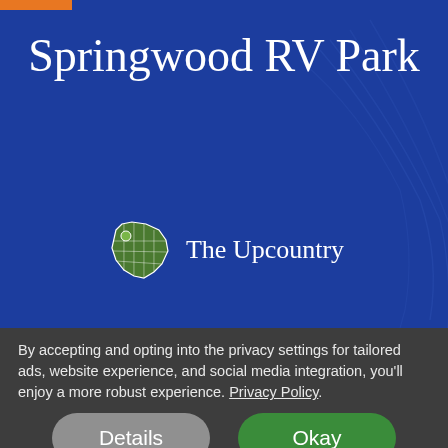Springwood RV Park
The Upcountry
Full hook ups with level, concrete patios, shady site with phone and cable available. Propane and RV service available nearby. Close to malls, Bi-Lo
By accepting and opting into the privacy settings for tailored ads, website experience, and social media integration, you’ll enjoy a more robust experience. Privacy Policy.
Details
Okay